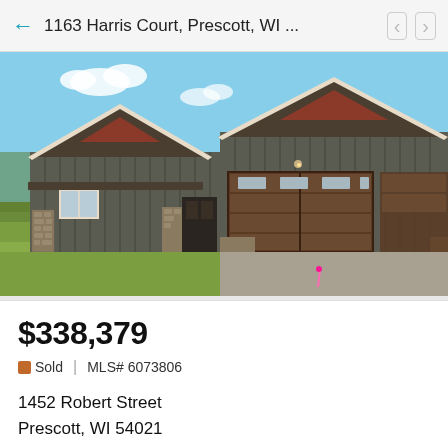1163 Harris Court, Prescott, WI ...
[Figure (photo): Exterior photo of a new construction ranch-style home with brown/gray vertical siding, stone accents, red cedar gable accents, two-car garage with brown garage doors, concrete driveway, green lawn, and blue sky background. Located in Prescott, WI.]
$338,379
Sold  |  MLS# 6073806
1452 Robert Street
Prescott, WI 54021